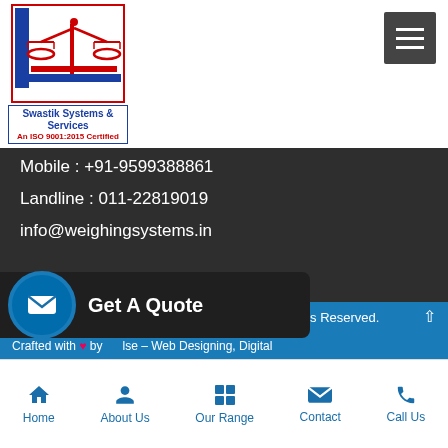[Figure (logo): Swastik Systems & Services logo with weighing scale icon, red and blue border. 'An ISO 9001:2015 Certified' text below.]
Mobile : +91-9599388861
Landline : 011-22819019
info@weighingsystems.in
You Can Follow Us At:
[Figure (infographic): Four social media icons in circles: WhatsApp (green), Twitter (grey), YouTube (grey), LinkedIn (grey)]
Get A Quote
and Services. All Rights Reserved.
Crafted with ❤ by Pulse – Web Designing, Digital
Home | About Us | Our Range | Contact | Call Us